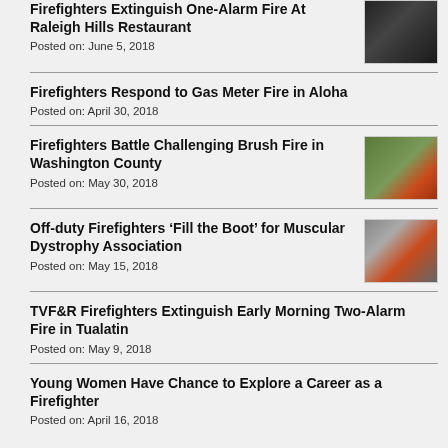Firefighters Extinguish One-Alarm Fire At Raleigh Hills Restaurant
Posted on: June 5, 2018
Firefighters Respond to Gas Meter Fire in Aloha
Posted on: April 30, 2018
Firefighters Battle Challenging Brush Fire in Washington County
Posted on: May 30, 2018
Off-duty Firefighters ‘Fill the Boot’ for Muscular Dystrophy Association
Posted on: May 15, 2018
TVF&R Firefighters Extinguish Early Morning Two-Alarm Fire in Tualatin
Posted on: May 9, 2018
Young Women Have Chance to Explore a Career as a Firefighter
Posted on: April 16, 2018